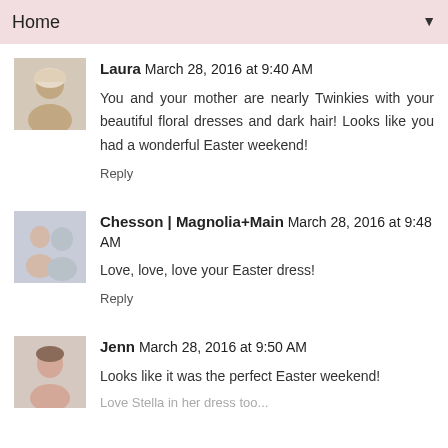Home
Laura March 28, 2016 at 9:40 AM
You and your mother are nearly Twinkies with your beautiful floral dresses and dark hair! Looks like you had a wonderful Easter weekend!
Reply
Chesson | Magnolia+Main March 28, 2016 at 9:48 AM
Love, love, love your Easter dress!
Reply
Jenn March 28, 2016 at 9:50 AM
Looks like it was the perfect Easter weekend!